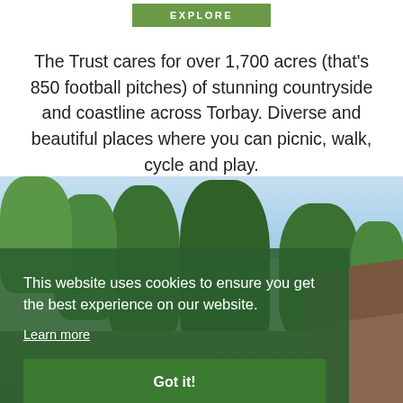[Figure (other): Green 'EXPLORE' button on white background at top of page]
The Trust cares for over 1,700 acres (that's 850 football pitches) of stunning countryside and coastline across Torbay. Diverse and beautiful places where you can picnic, walk, cycle and play.
[Figure (photo): Outdoor photograph showing tall green trees against a blue sky, with a thatched-roof building visible on the right side]
This website uses cookies to ensure you get the best experience on our website.
Learn more
Got it!